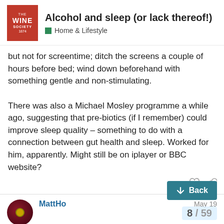Alcohol and sleep (or lack thereof!) — Home & Lifestyle
but not for screentime; ditch the screens a couple of hours before bed; wind down beforehand with something gentle and non-stimulating.
There was also a Michael Mosley programme a while ago, suggesting that pre-biotics (if I remember) could improve sleep quality – something to do with a connection between gut health and sleep. Worked for him, apparently. Might still be on iplayer or BBC website?
MattHo  May 19
Sounds rubbish, sorry to hear this. From your description it sounds as though this is tied to sleep cycle... first sleep cycle ok, but then waking up (wh